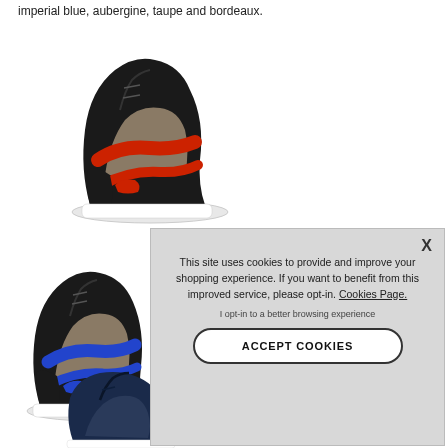imperial blue, aubergine, taupe and bordeaux.
[Figure (photo): High-top wedge sneaker with red and taupe suede straps on black base, white sole]
[Figure (photo): High-top wedge sneaker with blue and taupe suede straps on black base, white sole]
[Figure (photo): High-top wedge sneaker in navy blue, partially visible]
This site uses cookies to provide and improve your shopping experience. If you want to benefit from this improved service, please opt-in. Cookies Page.

I opt-in to a better browsing experience

ACCEPT COOKIES